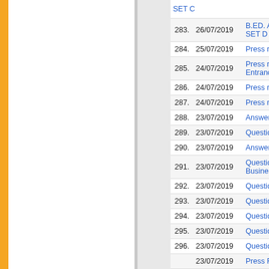| No. | Date | Title |
| --- | --- | --- |
|  |  | SET C |
| 283. | 26/07/2019 | B.ED. ADMI... SET D |
| 284. | 25/07/2019 | Press releas... |
| 285. | 24/07/2019 | Press releas... Entrance Tes... |
| 286. | 24/07/2019 | Press releas... |
| 287. | 24/07/2019 | Press releas... |
| 288. | 23/07/2019 | Answer Key ... |
| 289. | 23/07/2019 | Question Bo... |
| 290. | 23/07/2019 | Answer Key ... |
| 291. | 23/07/2019 | Question Bo... Business Mg... |
| 292. | 23/07/2019 | Question Bo... |
| 293. | 23/07/2019 | Question Bo... |
| 294. | 23/07/2019 | Question Bo... |
| 295. | 23/07/2019 | Question Bo... |
| 296. | 23/07/2019 | Question Bo... |
|  | 23/07/2019 | Press Rele... |